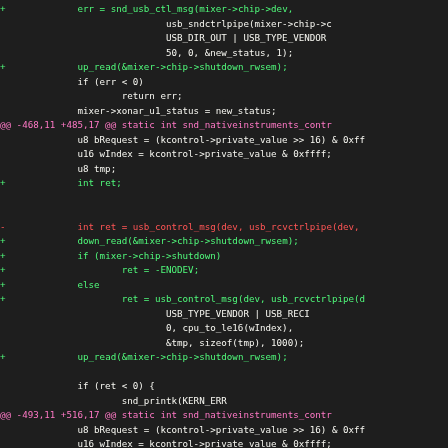[Figure (screenshot): Source code diff view showing changes to USB audio mixer driver code in C, with added lines (green), removed lines (red), hunk headers (magenta), and context lines (white) on a dark background]